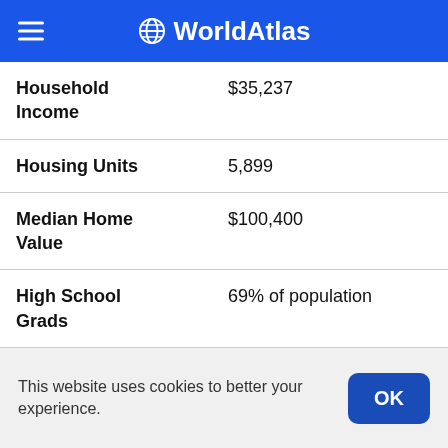WorldAtlas
| Category | Value |
| --- | --- |
| Household Income | $35,237 |
| Housing Units | 5,899 |
| Median Home Value | $100,400 |
| High School Grads | 69% of population |
| Holders of Bachelors Degrees | 12% of population |
This website uses cookies to better your experience.